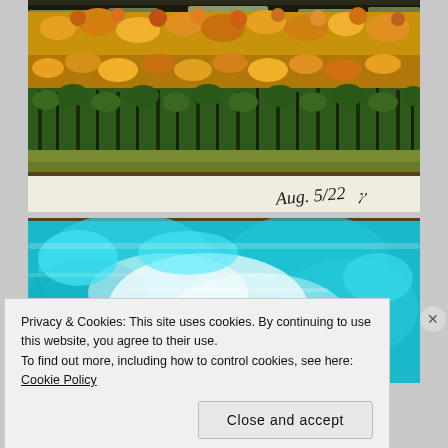[Figure (illustration): Painting of a field of sunflowers and orange flowers in the foreground with dark green trees/foliage in the middle ground, handwritten inscription 'Aug. 5/22' with a signature in the bottom right corner.]
[Figure (illustration): Abstract painting of turquoise/cyan and white colors with splashes of deep blue, resembling a sky or water scene.]
Privacy & Cookies: This site uses cookies. By continuing to use this website, you agree to their use.
To find out more, including how to control cookies, see here: Cookie Policy
Close and accept